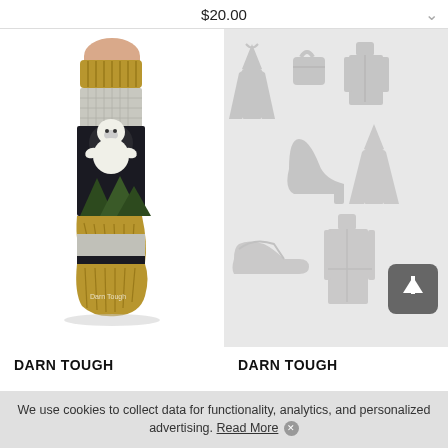$20.00
[Figure (photo): A Darn Tough sock on a mannequin foot, featuring a black bear design in the middle section, with mustard/gold colored cuff, heel and toe, and light gray ankle section.]
[Figure (illustration): A grid of light gray clothing icons on a light gray background including dresses, bags, shoes, coats, and a scroll-up button overlay.]
DARN TOUGH
DARN TOUGH
We use cookies to collect data for functionality, analytics, and personalized advertising. Read More